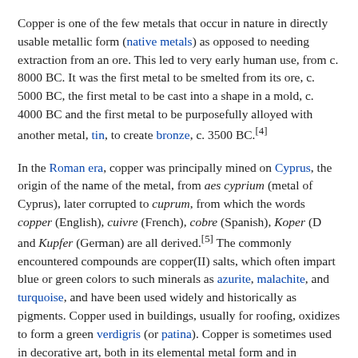Copper is one of the few metals that occur in nature in directly usable metallic form (native metals) as opposed to needing extraction from an ore. This led to very early human use, from c. 8000 BC. It was the first metal to be smelted from its ore, c. 5000 BC, the first metal to be cast into a shape in a mold, c. 4000 BC and the first metal to be purposefully alloyed with another metal, tin, to create bronze, c. 3500 BC.[4]
In the Roman era, copper was principally mined on Cyprus, the origin of the name of the metal, from aes cyprium (metal of Cyprus), later corrupted to cuprum, from which the words copper (English), cuivre (French), cobre (Spanish), Koper (Dutch) and Kupfer (German) are all derived.[5] The commonly encountered compounds are copper(II) salts, which often impart blue or green colors to such minerals as azurite, malachite, and turquoise, and have been used widely and historically as pigments. Copper used in buildings, usually for roofing, oxidizes to form a green verdigris (or patina). Copper is sometimes used in decorative art, both in its elemental metal form and in compounds as pigments. Copper compounds are used